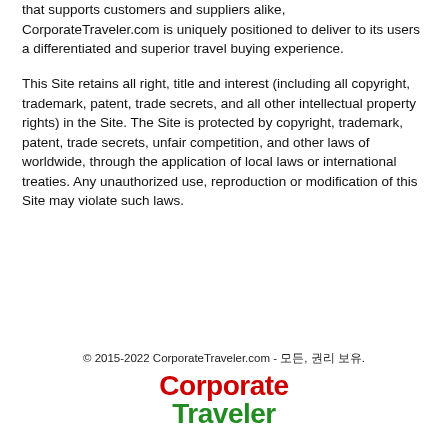that supports customers and suppliers alike, CorporateTraveler.com is uniquely positioned to deliver to its users a differentiated and superior travel buying experience.
This Site retains all right, title and interest (including all copyright, trademark, patent, trade secrets, and all other intellectual property rights) in the Site. The Site is protected by copyright, trademark, patent, trade secrets, unfair competition, and other laws of worldwide, through the application of local laws or international treaties. Any unauthorized use, reproduction or modification of this Site may violate such laws.
© 2015-2022 CorporateTraveler.com - 모든, 권리 보유.